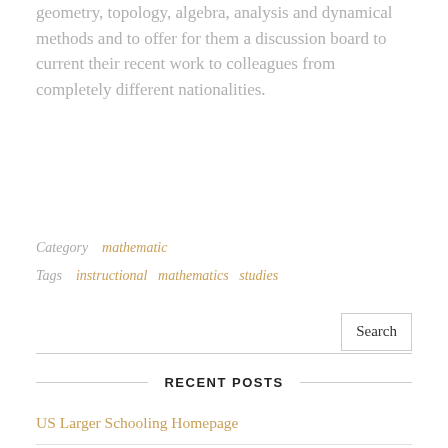geometry, topology, algebra, analysis and dynamical methods and to offer for them a discussion board to current their recent work to colleagues from completely different nationalities.
Category   mathematic
Tags   instructional   mathematics   studies
RECENT POSTS
US Larger Schooling Homepage
How Maslow's Hierarchy Of Needs Affects Business And Society
Service, The Producer's View